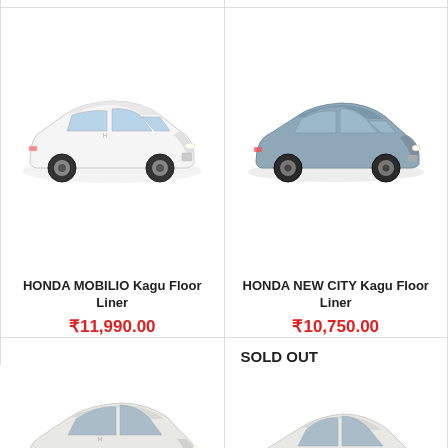₹10,750.00
[Figure (photo): Honda Mobilio white SUV car, front-side view]
[Figure (photo): Honda New City grey sedan car, front-side view]
HONDA MOBILIO Kagu Floor Liner
₹11,990.00
HONDA NEW CITY Kagu Floor Liner
₹10,750.00
SOLD OUT
[Figure (photo): Honda Civic white sedan car, front-side view]
[Figure (photo): Small white hatchback car, front-side view]